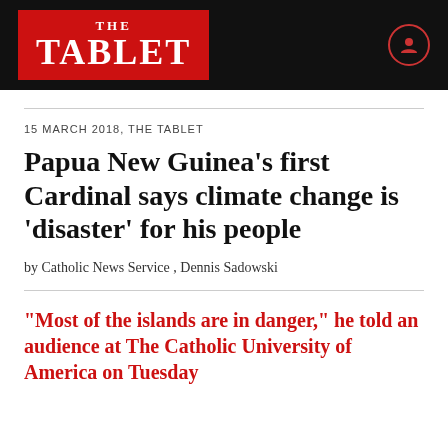THE TABLET
15 MARCH 2018, THE TABLET
Papua New Guinea’s first Cardinal says climate change is ‘disaster’ for his people
by Catholic News Service , Dennis Sadowski
“Most of the islands are in danger,” he told an audience at The Catholic University of America on Tuesday